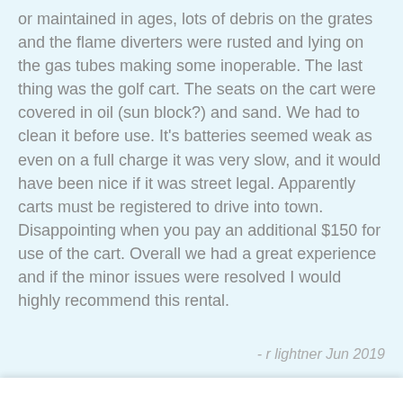or maintained in ages, lots of debris on the grates and the flame diverters were rusted and lying on the gas tubes making some inoperable. The last thing was the golf cart. The seats on the cart were covered in oil (sun block?) and sand. We had to clean it before use. It's batteries seemed weak as even on a full charge it was very slow, and it would have been nice if it was street legal. Apparently carts must be registered to drive into town. Disappointing when you pay an additional $150 for use of the cart. Overall we had a great experience and if the minor issues were resolved I would highly recommend this rental.
- r lightner Jun 2019
This website stores cookies on your computer. We use this information in order to improve and customize your browsing experience and for analytics and metrics about our visitors both on this website and other media. To find out more about the cookies we use, see our Privacy Policy.
Accept